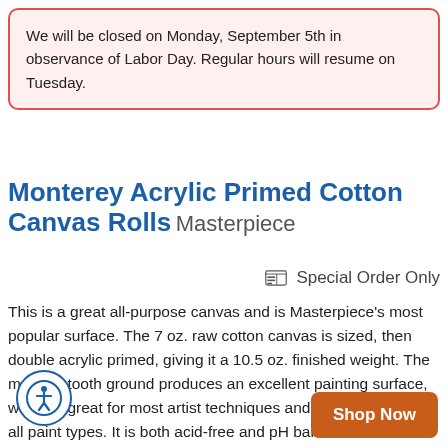We will be closed on Monday, September 5th in observance of Labor Day. Regular hours will resume on Tuesday.
Monterey Acrylic Primed Cotton Canvas Rolls Masterpiece
Special Order Only
This is a great all-purpose canvas and is Masterpiece's most popular surface. The 7 oz. raw cotton canvas is sized, then double acrylic primed, giving it a 10.5 oz. finished weight. The medium tooth ground produces an excellent painting surface, which is great for most artist techniques and suitable for most all paint types. It is both acid-free and pH balanced. This canvas is also available stretched on Vincent Pro, Monet Pro and 3D Pro frames.
[Figure (illustration): Accessibility icon button - circular blue bordered button with person/wheelchair accessibility symbol]
Shop Now